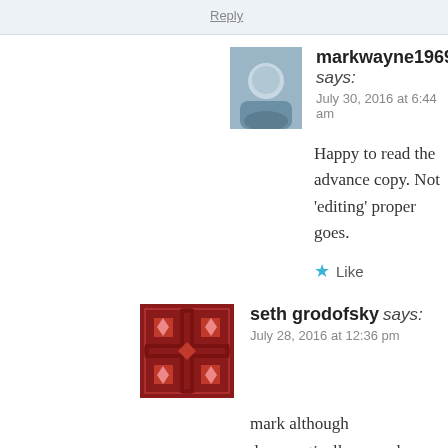Reply
markwayne1969 says:
July 30, 2016 at 6:44 am
Happy to read the advance copy. Not 'editing' proper goes.
Like
seth grodofsky says:
July 28, 2016 at 12:36 pm
mark although democratically owned economi- in the future must be a wider discussion on res- Whether a business is democratic or not , will resources due to many factors. The only real w- use of resources in a more equitable way is po-